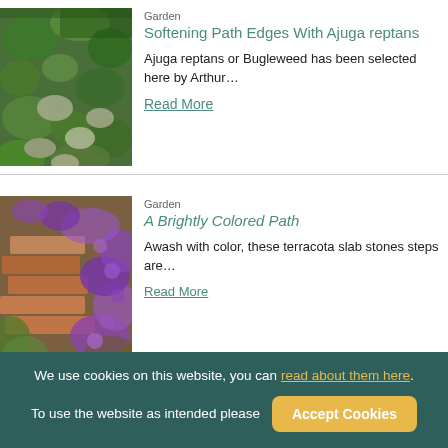Garden
Softening Path Edges With Ajuga reptans
[Figure (photo): Garden path with stepping stones surrounded by lush green plants and ground cover]
Ajuga reptans or Bugleweed has been selected here by Arthur...
Read More
Garden
A Brightly Colored Path
[Figure (photo): Terracota slab stone steps surrounded by purple flowering plants and greenery]
Awash with color, these terracota slab stones steps are...
Read More
We use cookies on this website, you can read about them here. To use the website as intended please  Accept Cookies